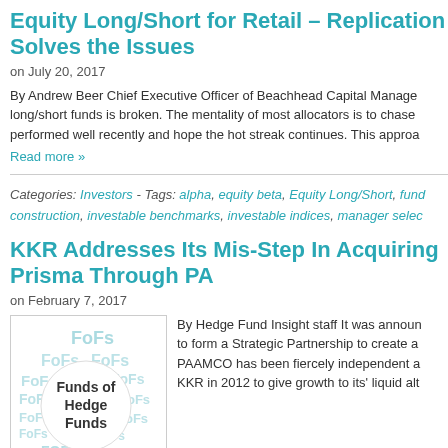Equity Long/Short for Retail – Replication Solves the Issues
on July 20, 2017
By Andrew Beer Chief Executive Officer of Beachhead Capital Manager long/short funds is broken. The mentality of most allocators is to chase performed well recently and hope the hot streak continues. This approach
Read more »
Categories: Investors - Tags: alpha, equity beta, Equity Long/Short, fund construction, investable benchmarks, investable indices, manager selec
KKR Addresses Its Mis-Step In Acquiring Prisma Through PA
on February 7, 2017
[Figure (illustration): Funds of Hedge Funds watermark image with circle overlay containing bold text 'Funds of Hedge Funds']
By Hedge Fund Insight staff It was announced to form a Strategic Partnership to create a PAAMCO has been fiercely independent and KKR in 2012 to give growth to its' liquid alt